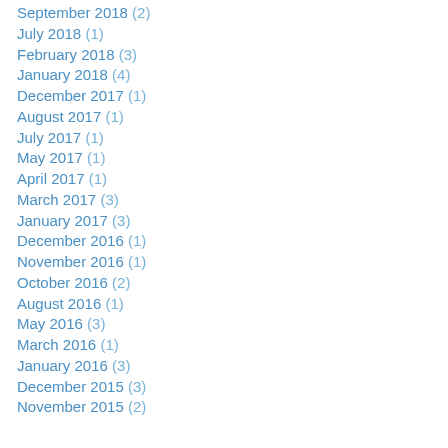September 2018 (2)
July 2018 (1)
February 2018 (3)
January 2018 (4)
December 2017 (1)
August 2017 (1)
July 2017 (1)
May 2017 (1)
April 2017 (1)
March 2017 (3)
January 2017 (3)
December 2016 (1)
November 2016 (1)
October 2016 (2)
August 2016 (1)
May 2016 (3)
March 2016 (1)
January 2016 (3)
December 2015 (3)
November 2015 (2)